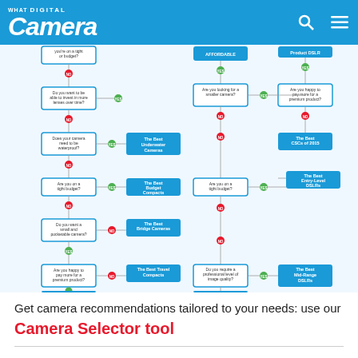What Digital Camera
[Figure (flowchart): Camera selector flowchart with decision questions leading to camera type recommendations including: The Best Underwater Cameras, The Best Budget Compacts, The Best Bridge Cameras, The Best Travel Compacts, The Best Advanced Compacts, The Best CSCs of 2015, The Best Entry-Level DSLRs, The Best Mid-Range DSLRs, The Best Full-Frame DSLRs]
Get camera recommendations tailored to your needs: use our Camera Selector tool